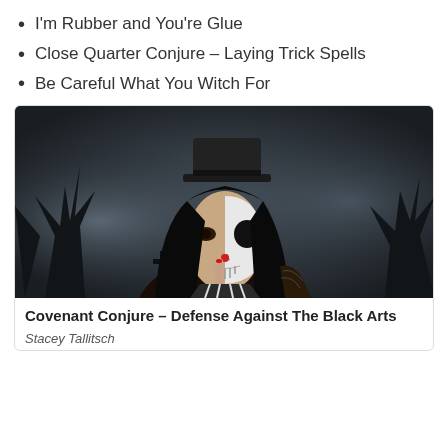I'm Rubber and You're Glue
Close Quarter Conjure – Laying Trick Spells
Be Careful What You Witch For
[Figure (photo): A woman with half-skull face makeup and a black top hat holding a finger to her lips in a shushing gesture, set against a dark, foggy graveyard background.]
Covenant Conjure – Defense Against The Black Arts
Stacey Tallitsch